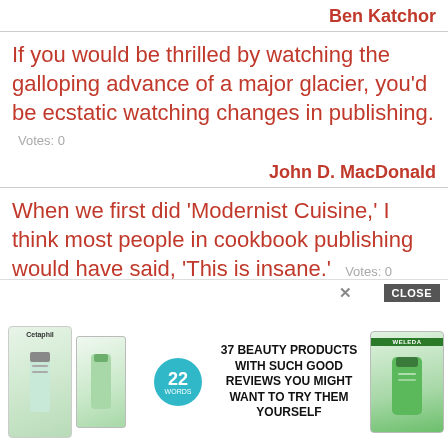Ben Katchor
If you would be thrilled by watching the galloping advance of a major glacier, you'd be ecstatic watching changes in publishing.
Votes: 0
John D. MacDonald
When we first did 'Modernist Cuisine,' I think most people in cookbook publishing would have said, 'This is insane.' Votes: 0
Nathan Myhrvold
A lot of digital... in New Y...
[Figure (screenshot): Advertisement overlay: 37 Beauty Products With Such Good Reviews You Might Want To Try Them Yourself, with product images and a CLOSE button]